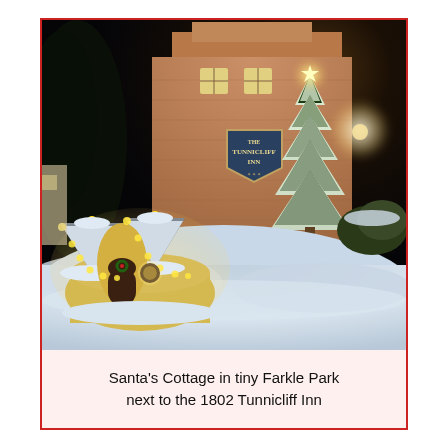[Figure (photo): Nighttime winter photo of Santa's Cottage, a small whimsical structure with curved snow-covered roof and yellow/gold lights, in front of a large brick building with 'Tunnicliff Inn' sign. A snow-covered Christmas tree with a star on top stands to the right. The scene is illuminated at night with snow on the ground.]
Santa's Cottage in tiny Farkle Park next to the 1802 Tunnicliff Inn